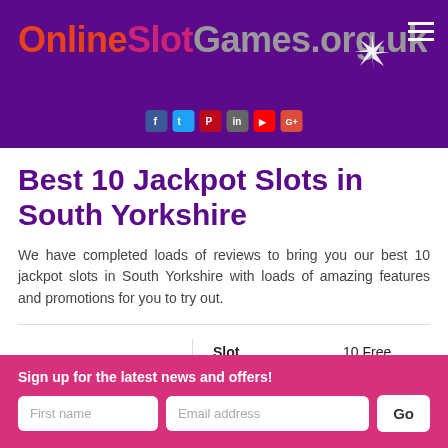OnlineSlotGames.org.uk
Best 10 Jackpot Slots in South Yorkshire
We have completed loads of reviews to bring you our best 10 jackpot slots in South Yorkshire with loads of amazing features and promotions for you to try out.
| Casino | Name | Offer |
| --- | --- | --- |
| SLOT CRAZY | Slot Crazy | 10 Free Spins + |
Sign up for the latest news and offers!